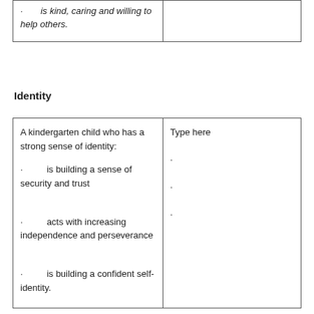| · is kind, caring and willing to help others. |  |
Identity
| A kindergarten child who has a strong sense of identity:

· is building a sense of security and trust

· acts with increasing independence and perseverance

· is building a confident self-identity. | Type here

.

.

. |